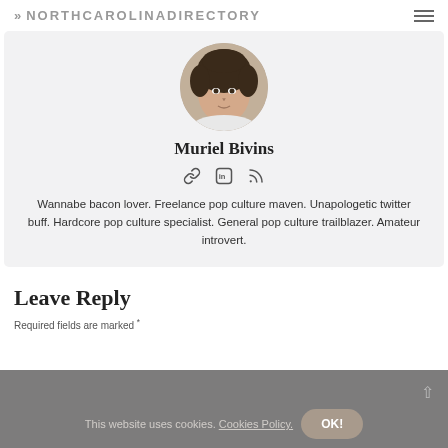>> NORTHCAROLINADIRECTORY
[Figure (photo): Circular profile photo of Muriel Bivins, a woman with curly dark hair, looking directly at camera against a neutral background.]
Muriel Bivins
[Figure (infographic): Three social media icons: a link/chain icon, a LinkedIn icon (in), and an RSS feed icon.]
Wannabe bacon lover. Freelance pop culture maven. Unapologetic twitter buff. Hardcore pop culture specialist. General pop culture trailblazer. Amateur introvert.
Leave Reply
Required fields are marked *
This website uses cookies. Cookies Policy.